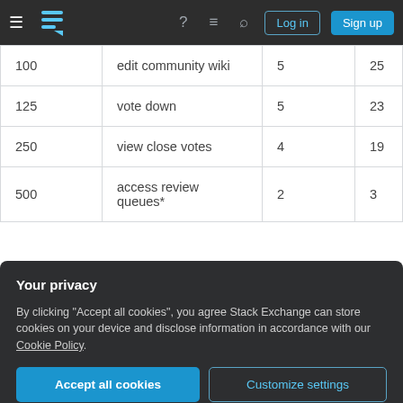Stack Exchange navigation bar with Log in and Sign up buttons
| 100 | edit community wiki | 5 | 25 |
| 125 | vote down | 5 | 23 |
| 250 | view close votes | 4 | 19 |
| 500 | access review queues* | 2 | 3 |
| 2000 | questions... | 4 | 8 |
Your privacy
By clicking "Accept all cookies", you agree Stack Exchange can store cookies on your device and disclose information in accordance with our Cookie Policy.
Accept all cookies  Customize settings